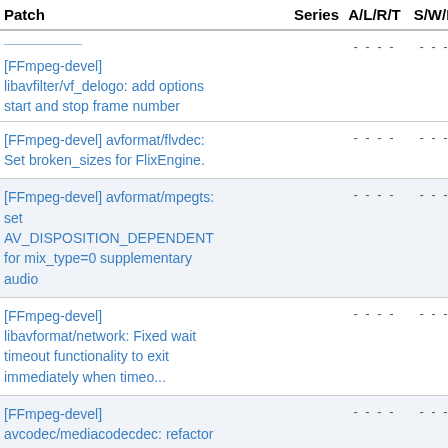| Patch | Series | A/L/R/T | S/W/F | ▲ D |
| --- | --- | --- | --- | --- |
| [FFmpeg-devel] libavfilter/vf_delogo: add options start and stop frame number |  | - - - - | - - - | 2018 |
| [FFmpeg-devel] avformat/flvdec: Set broken_sizes for FlixEngine. |  | - - - - | - - - | 2018 |
| [FFmpeg-devel] avformat/mpegts: set AV_DISPOSITION_DEPENDENT for mix_type=0 supplementary audio |  | - - - - | - - - | 2018 |
| [FFmpeg-devel] libavformat/network: Fixed wait timeout functionality to exit immediately when timeo... |  | - - - - | - - - | 2018 |
| [FFmpeg-devel] avcodec/mediacodecdec: refactor to take advantage of new decoding api |  | - - - - | - - - | 2018 |
| [FFmpeg-devel] configure: Change license required for |  | - - - - | - - - | 2018 |